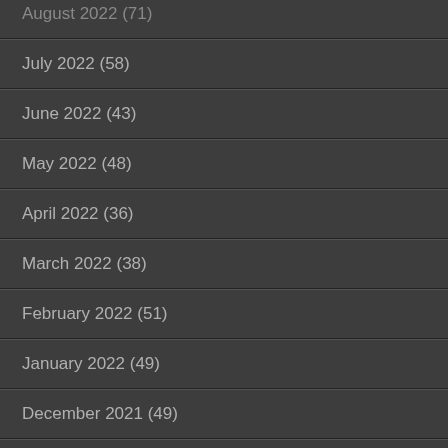August 2022 (71)
July 2022 (58)
June 2022 (43)
May 2022 (48)
April 2022 (36)
March 2022 (38)
February 2022 (51)
January 2022 (49)
December 2021 (49)
November 2021 (55)